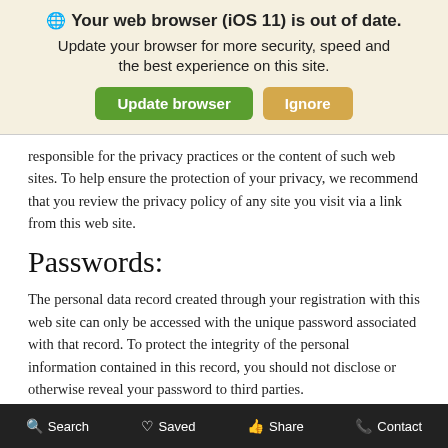[Figure (screenshot): Browser update notification banner with globe icon, bold text 'Your web browser (iOS 11) is out of date.' subtitle 'Update your browser for more security, speed and the best experience on this site.' with green 'Update browser' button and tan 'Ignore' button]
responsible for the privacy practices or the content of such web sites. To help ensure the protection of your privacy, we recommend that you review the privacy policy of any site you visit via a link from this web site.
Passwords:
The personal data record created through your registration with this web site can only be accessed with the unique password associated with that record. To protect the integrity of the personal information contained in this record, you should not disclose or otherwise reveal your password to third parties.
Public Forums:
Search   Saved   Share   Contact